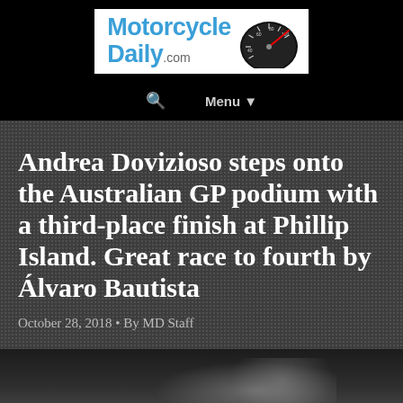[Figure (logo): MotorcycleDaily.com logo with speedometer graphic on white background]
🔍  Menu ▼
Andrea Dovizioso steps onto the Australian GP podium with a third-place finish at Phillip Island. Great race to fourth by Álvaro Bautista
October 28, 2018 • By MD Staff
[Figure (photo): Bottom portion of photo strip showing blurred background, partial figure visible]